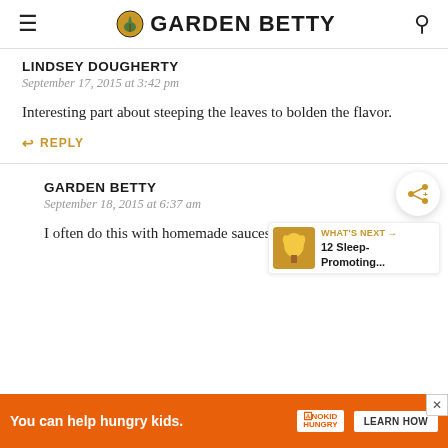GARDEN BETTY
LINDSEY DOUGHERTY
September 17, 2015 at 3:42 pm
Interesting part about steeping the leaves to bolden the flavor.
REPLY
GARDEN BETTY
September 18, 2015 at 6:37 am
I often do this with homemade sauces, especially if
[Figure (screenshot): Advertisement banner: You can help hungry kids. No Kid Hungry. Learn How.]